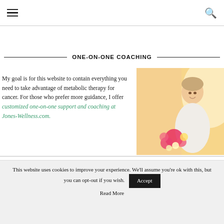Navigation menu and search icon
ONE-ON-ONE COACHING
My goal is for this website to contain everything you need to take advantage of metabolic therapy for cancer. For those who prefer more guidance, I offer customized one-on-one support and coaching at Jones-Wellness.com.
[Figure (photo): Woman smiling and holding colorful flowers, warm bright background]
This website uses cookies to improve your experience. We'll assume you're ok with this, but you can opt-out if you wish. Accept Read More